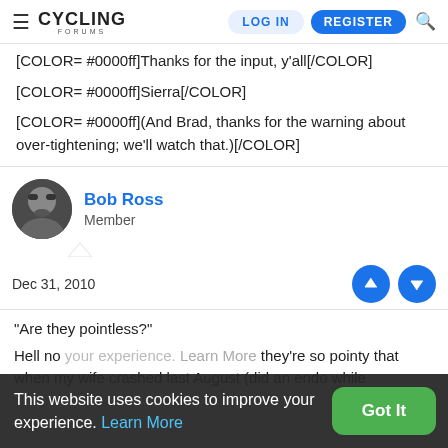≡ CYCLING FORUMS | LOG IN | REGISTER | 🔍
[COLOR= #0000ff]Thanks for the input, y'all[/COLOR]
[COLOR= #0000ff]Sierra[/COLOR]
[COLOR= #0000ff](And Brad, thanks for the warning about over-tightening; we'll watch that.)[/COLOR]
Bob Ross
Member
Dec 31, 2010
"Are they pointless?"
Hell no your experience. Learn More they're so pointy that when my wife crashed last August (did an endo while
This website uses cookies to improve your experience. Learn More Got It